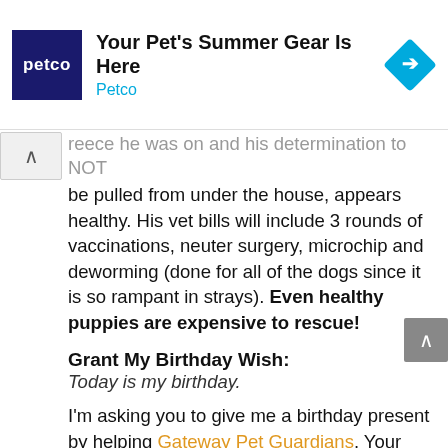[Figure (screenshot): Petco advertisement banner with dark blue Petco logo on the left, headline 'Your Pet's Summer Gear Is Here', brand name 'Petco' in cyan, and a blue diamond navigation icon on the right]
...reece he was on and his determination to NOT be pulled from under the house, appears healthy. His vet bills will include 3 rounds of vaccinations, neuter surgery, microchip and deworming (done for all of the dogs since it is so rampant in strays). Even healthy puppies are expensive to rescue!
Grant My Birthday Wish:
Today is my birthday.
I'm asking you to give me a birthday present by helping Gateway Pet Guardians. Your donation will pay for vet bills, food for foster parents and strays, treats for neglected but owned dogs...